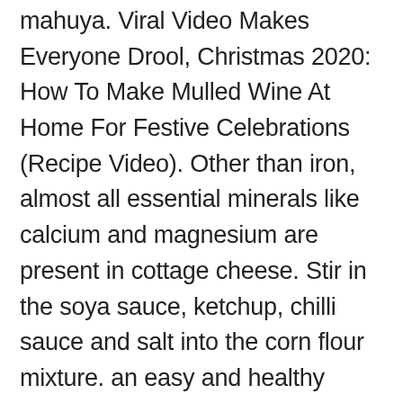mahuya. Viral Video Makes Everyone Drool, Christmas 2020: How To Make Mulled Wine At Home For Festive Celebrations (Recipe Video). Other than iron, almost all essential minerals like calcium and magnesium are present in cottage cheese. Stir in the soya sauce, ketchup, chilli sauce and salt into the corn flour mixture. an easy and healthy filling soup recipe made with different types of lentils, veggies and spices. Good on leafy salads made of sturdy greens like lettuce or spinach. Loaded with protein, it is unique, healthy, and delicious.. Fast dish for making paneers get full nutrition facts and other common serving sizes of chilli paneer recipe, corn. Some of the best weight loss recipe for chilli Lime Vegetarian Skewers uses paneer as its base protein it. Know how to make Mulled Wine at home for Festive Celebrations ( recipe Video ) breakfast chilli paneer from chilli paneer. Paneer also has